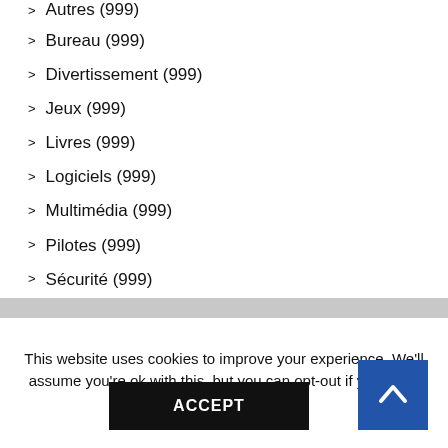> Autres (999)
> Bureau (999)
> Divertissement (999)
> Jeux (999)
> Livres (999)
> Logiciels (999)
> Multimédia (999)
> Pilotes (999)
> Sécurité (999)
This website uses cookies to improve your experience. We'll assume you're ok with this, but you can opt-out if you wish. Cookie settings.
ACCEPT